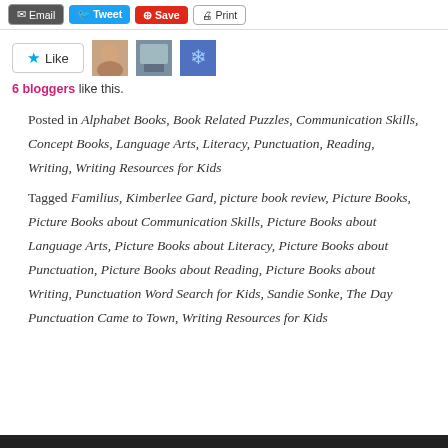[Figure (screenshot): Top navigation bar with Email, Tweet, Digg/Save, and Print buttons]
[Figure (screenshot): Like button with star icon, three blogger avatar thumbnails]
6 bloggers like this.
Posted in Alphabet Books, Book Related Puzzles, Communication Skills, Concept Books, Language Arts, Literacy, Punctuation, Reading, Writing, Writing Resources for Kids
Tagged Familius, Kimberlee Gard, picture book review, Picture Books, Picture Books about Communication Skills, Picture Books about Language Arts, Picture Books about Literacy, Picture Books about Punctuation, Picture Books about Reading, Picture Books about Writing, Punctuation Word Search for Kids, Sandie Sonke, The Day Punctuation Came to Town, Writing Resources for Kids